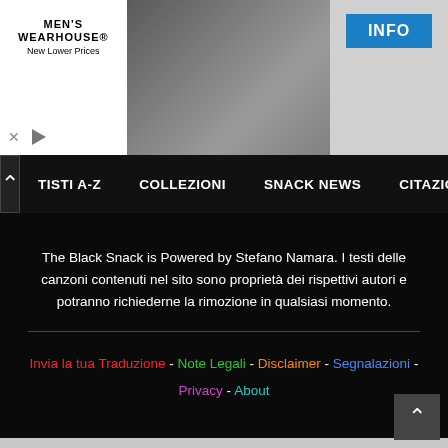[Figure (photo): Men's Wearhouse advertisement banner with a couple in formal wedding attire and a man in a gray suit, with an INFO button]
ARTISTI A-Z   COLLEZIONI   SNACK NEWS   CITAZIONI
The Black Snack is Powered by Stefano Namara. I testi delle canzoni contenuti nel sito sono proprietà dei rispettivi autori e potranno richiederne la rimozione in qualsiasi momento.
Invia la tua Traduzione - Note Legali - Disclaimer - Segnalazioni - Privacy - About